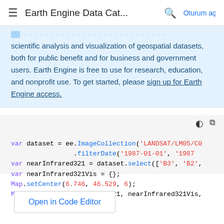Earth Engine Data Cat... Oturum aç
scientific analysis and visualization of geospatial datasets, both for public benefit and for business and government users. Earth Engine is free to use for research, education, and nonprofit use. To get started, please sign up for Earth Engine access.
[Figure (screenshot): Code snippet showing Google Earth Engine JavaScript API code: var dataset = ee.ImageCollection('LANDSAT/LM05/C0 .filterDate('1987-01-01', '1987 var nearInfrared321 = dataset.select(['B3', 'B2', var nearInfrared321Vis = {}; Map.setCenter(6.746, 46.529, 6); Map.addLayer(nearInfrared321, nearInfrared321Vis,]
Open in Code Editor